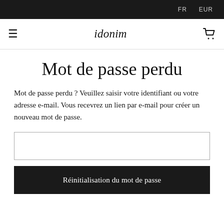FR  EUR
≡  idonim  🛒
Mot de passe perdu
Mot de passe perdu ? Veuillez saisir votre identifiant ou votre adresse e-mail. Vous recevrez un lien par e-mail pour créer un nouveau mot de passe.
[input field]
Réinitialisation du mot de passe